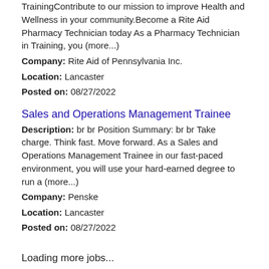TrainingContribute to our mission to improve Health and Wellness in your community.Become a Rite Aid Pharmacy Technician today As a Pharmacy Technician in Training, you (more...)
Company: Rite Aid of Pennsylvania Inc.
Location: Lancaster
Posted on: 08/27/2022
Sales and Operations Management Trainee
Description: br br Position Summary: br br Take charge. Think fast. Move forward. As a Sales and Operations Management Trainee in our fast-paced environment, you will use your hard-earned degree to run a (more...)
Company: Penske
Location: Lancaster
Posted on: 08/27/2022
Loading more jobs...
Log In or Create An Account
Username: